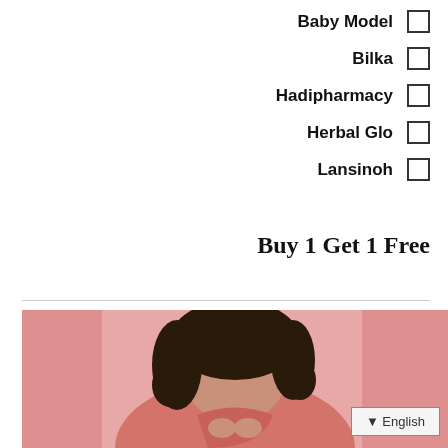Baby Model  ☐
Bilka  ☐
Hadipharmacy  ☐
Herbal Glo  ☐
Lansinoh  ☐
Buy 1 Get 1 Free
[Figure (photo): Woman with curly dark hair wearing a pink top, smiling, against a pink background. Language selector button showing 'English' in bottom right corner.]